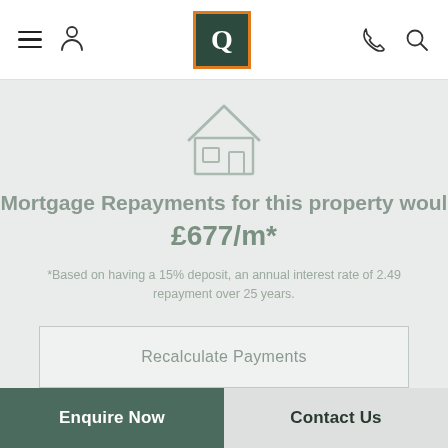Navigation header with hamburger menu, user icon, Q logo, phone icon, search icon
[Figure (illustration): House outline icon in light gray]
Mortgage Repayments for this property would be £677/m*
*Based on having a 15% deposit, an annual interest rate of 2.49% repayment over 25 years.
Recalculate Payments
Enquire Now
Contact Us